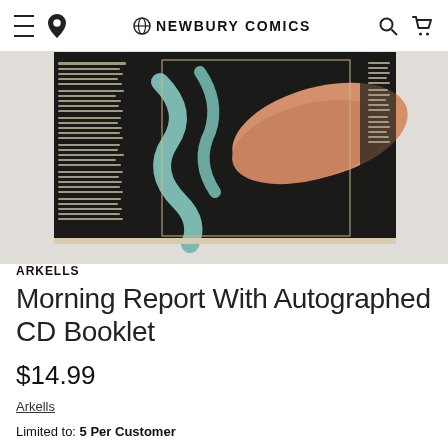NEWBURY COMICS
[Figure (photo): Partial view of the Arkells Morning Report album cover/booklet art — newspaper-style layout with dark background and figures visible]
ARKELLS
Morning Report With Autographed CD Booklet
$14.99
Arkells
Limited to: 5 Per Customer
OUT OF STOCK